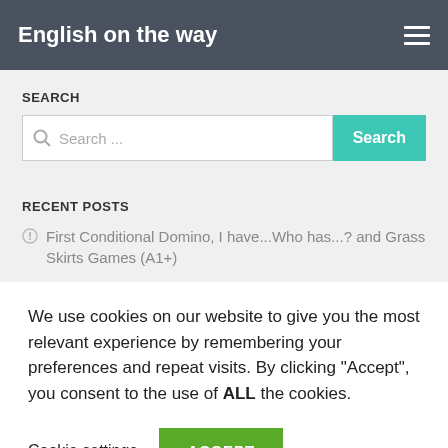English on the way
SEARCH
Search ...
RECENT POSTS
First Conditional Domino, I have...Who has...? and Grass Skirts Games (A1+)
We use cookies on our website to give you the most relevant experience by remembering your preferences and repeat visits. By clicking “Accept”, you consent to the use of ALL the cookies.
Cookie settings
ACCEPT